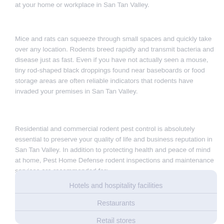at your home or workplace in San Tan Valley.
Mice and rats can squeeze through small spaces and quickly take over any location. Rodents breed rapidly and transmit bacteria and disease just as fast. Even if you have not actually seen a mouse, tiny rod-shaped black droppings found near baseboards or food storage areas are often reliable indicators that rodents have invaded your premises in San Tan Valley.
Residential and commercial rodent pest control is absolutely essential to preserve your quality of life and business reputation in San Tan Valley. In addition to protecting health and peace of mind at home, Pest Home Defense rodent inspections and maintenance services are recommended for:
Hotels and hospitality facilities
Restaurants
Retail stores
Warehouses